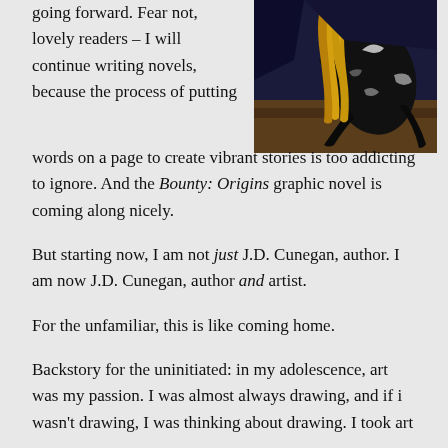going forward. Fear not, lovely readers – I will continue writing novels, because the process of putting words on a page to create vibrant stories is too addicting to ignore. And the Bounty: Origins graphic novel is coming along nicely.
[Figure (illustration): A dark illustrated graphic novel panel showing a figure with long blonde hair and a black creature or being, rendered in a comic/manga style with dark blues, browns, and black outlines.]
But starting now, I am not just J.D. Cunegan, author. I am now J.D. Cunegan, author and artist.
For the unfamiliar, this is like coming home.
Backstory for the uninitiated: in my adolescence, art was my passion. I was almost always drawing, and if i wasn't drawing, I was thinking about drawing. I took art